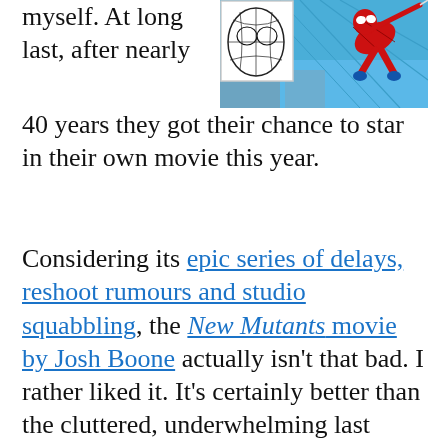[Figure (illustration): Spider-Man comic book image showing Spider-Man swinging, with a small inset drawing of Spider-Man's face mask in white/black]
myself. At long last, after nearly 40 years they got their chance to star in their own movie this year.
Considering its epic series of delays, reshoot rumours and studio squabbling, the New Mutants movie by Josh Boone actually isn't that bad. I rather liked it. It's certainly better than the cluttered, underwhelming last several actual X-Men movies have been.
Don't get me wrong – it's not a five-star classic, no game-changing Dark Knight or Black Panther, but it's a tight little potboiler that doesn't utterly betray the spirit of the comics it